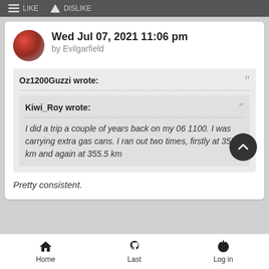Wed Jul 07, 2021 11:06 pm by Evilgarfield
Oz1200Guzzi wrote:
Kiwi_Roy wrote:
I did a trip a couple of years back on my 06 1100. I was carrying extra gas cans. I ran out two times, firstly at 355.7 km and again at 355.5 km
Pretty consistent.
Home  Last  Log in